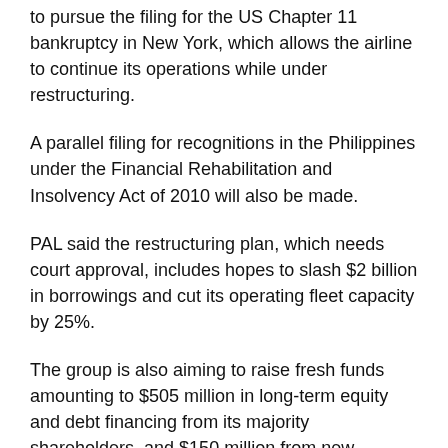to pursue the filing for the US Chapter 11 bankruptcy in New York, which allows the airline to continue its operations while under restructuring.
A parallel filing for recognitions in the Philippines under the Financial Rehabilitation and Insolvency Act of 2010 will also be made.
PAL said the restructuring plan, which needs court approval, includes hopes to slash $2 billion in borrowings and cut its operating fleet capacity by 25%.
The group is also aiming to raise fresh funds amounting to $505 million in long-term equity and debt financing from its majority shareholders, and $150 million from new investors.
“We welcome this major breakthrough, an overall agreement that enables PAL to remain the flag carrier of the Philippines